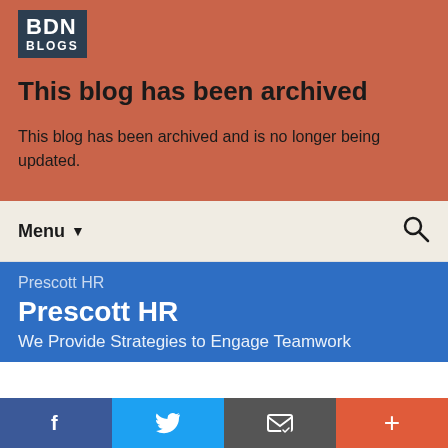[Figure (logo): BDN BLOGS logo in dark box]
This blog has been archived
This blog has been archived and is no longer being updated.
Menu ▼
Prescott HR
Prescott HR
We Provide Strategies to Engage Teamwork